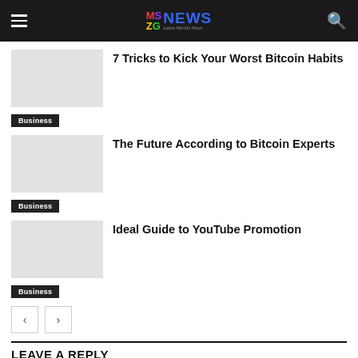MSZG NEWS - Latest World News
7 Tricks to Kick Your Worst Bitcoin Habits
Business
The Future According to Bitcoin Experts
Business
Ideal Guide to YouTube Promotion
Business
< >
LEAVE A REPLY